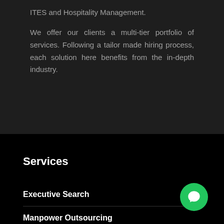ITES and Hospitality Management.
We offer our clients a multi-tier portfolio of services. Following a tailor made hiring process, each solution here benefits from the in-depth industry.
Services
Executive Search
Manpower Outsourcing